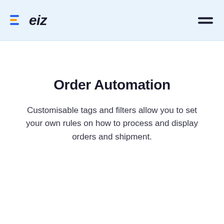[Figure (logo): eiz logo with blue and yellow icon and italic text]
Order Automation
Customisable tags and filters allow you to set your own rules on how to process and display orders and shipment.